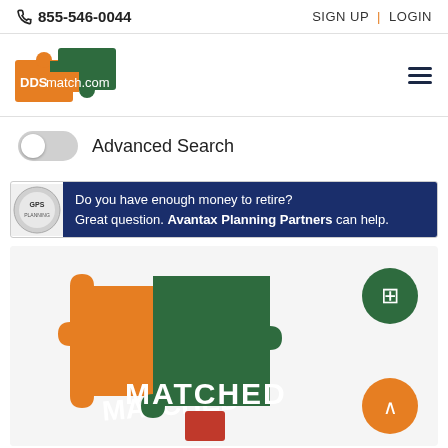📞 855-546-0044   SIGN UP | LOGIN
[Figure (logo): DDSmatch.com puzzle piece logo in orange and green]
Advanced Search
[Figure (infographic): Advertisement banner: Do you have enough money to retire? Great question. Avantax Planning Partners can help.]
[Figure (illustration): Two interlocking puzzle pieces in orange and green with text MATCHED, floating action buttons on right]